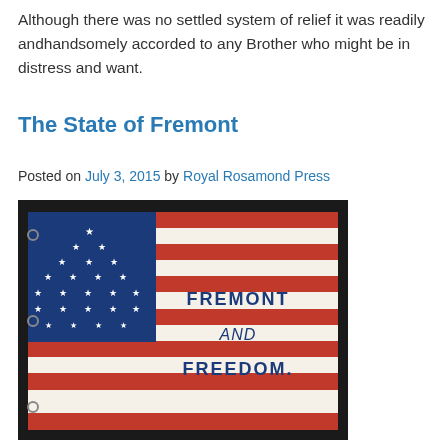Although there was no settled system of relief it was readily andhandsomely accorded to any Brother who might be in distress and want.
The State of Fremont
Posted on July 3, 2015 by Royal Rosamond Press
[Figure (photo): A historical American flag with a blue canton containing stars arranged in a large star pattern, and red and white stripes. Text on the stripes reads 'FREMONT AND FREEDOM.']